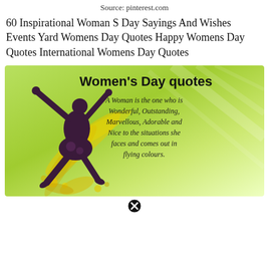Source: pinterest.com
60 Inspirational Woman S Day Sayings And Wishes Events Yard Womens Day Quotes Happy Womens Day Quotes International Womens Day Quotes
[Figure (illustration): Women's Day quotes image with a silhouette of a woman jumping with arms raised, surrounded by yellow floral swirls on a green gradient background. Bold text reads 'Women's Day quotes' and italic text reads 'A Woman is the one who is Wonderful, Outstanding, Marvellous, Adorable and Nice to the situations she faces and comes out in flying colours.']
[Figure (other): Close/cancel button icon (circled X) at the bottom center of the page]